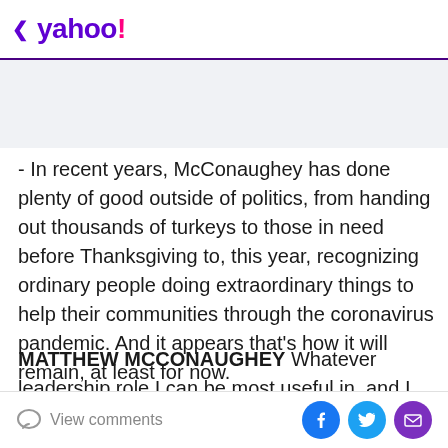< yahoo!
- In recent years, McConaughey has done plenty of good outside of politics, from handing out thousands of turkeys to those in need before Thanksgiving to, this year, recognizing ordinary people doing extraordinary things to help their communities through the coronavirus pandemic. And it appears that's how it will remain, at least for now.
MATTHEW MCCONAUGHEY Whatever leadership role I can be most useful in, and I don't know that that's
View comments